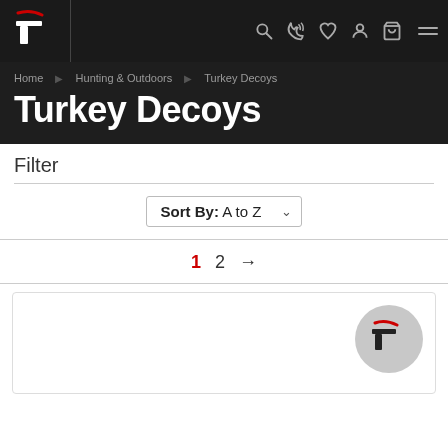Navigation bar with logo and icons
Home > Hunting & Outdoors > Turkey Decoys
Turkey Decoys
Filter
Sort By: A to Z
1  2  →
[Figure (logo): Brand logo circle with stylized T and red accent mark]